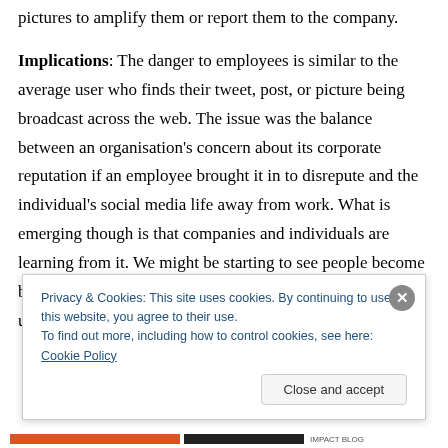pictures to amplify them or report them to the company.
Implications: The danger to employees is similar to the average user who finds their tweet, post, or picture being broadcast across the web. The issue was the balance between an organisation's concern about its corporate reputation if an employee brought it in to disrepute and the individual's social media life away from work. What is emerging though is that companies and individuals are learning from it. We might be starting to see people become better digital citizens as they learn to behave online and to understand the boundaries to acceptable
Privacy & Cookies: This site uses cookies. By continuing to use this website, you agree to their use.
To find out more, including how to control cookies, see here: Cookie Policy